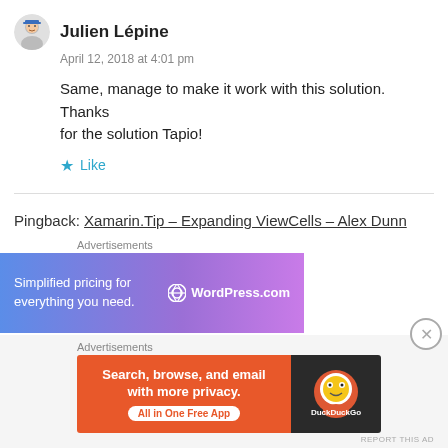Julien Lépine
April 12, 2018 at 4:01 pm
Same, manage to make it work with this solution. Thanks for the solution Tapio!
Like
Pingback: Xamarin.Tip – Expanding ViewCells – Alex Dunn
Advertisements
[Figure (other): WordPress.com advertisement banner: Simplified pricing for everything you need.]
REPORT THIS AD
Advertisements
[Figure (other): DuckDuckGo advertisement banner: Search, browse, and email with more privacy. All in One Free App.]
REPORT THIS AD